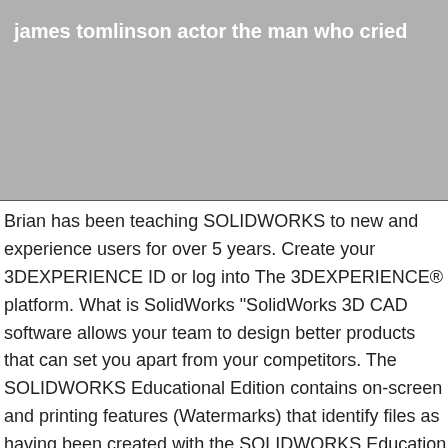james tomlinson actor the man who cried
Brian has been teaching SOLIDWORKS to new and experience users for over 5 years. Create your 3DEXPERIENCE ID or log into The 3DEXPERIENCE® platform. What is SolidWorks "SolidWorks 3D CAD software allows your team to design better products that can set you apart from your competitors. The SOLIDWORKS Educational Edition contains on-screen and printing features (Watermarks) that identify files as having been created with the SOLIDWORKS Education Edition. This is a single sign-on system. * Tony has been using SOLIDWORKS since 1998 and has been providing support and training since 2000. Tony has a BSME from the University of Tulsa. NOTE: SOLIDWORKS Education Edition applies only for classroom or laboratory